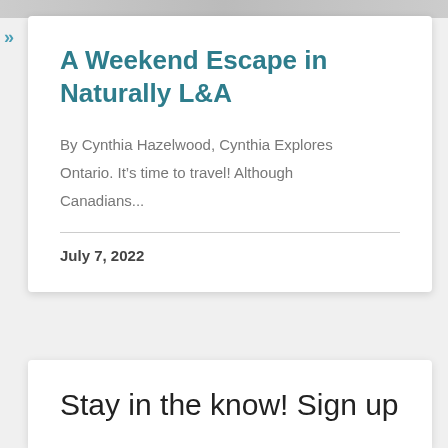[Figure (photo): Partial photo strip at top of page]
A Weekend Escape in Naturally L&A
By Cynthia Hazelwood, Cynthia Explores Ontario. It's time to travel! Although Canadians...
July 7, 2022
Stay in the know! Sign up